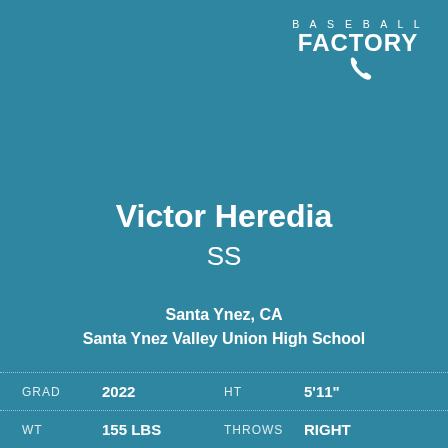[Figure (logo): Baseball Factory logo with phone icon — text 'BASEBALL' above 'FACTORY' with a phone handset icon]
Victor Heredia
SS
Santa Ynez, CA
Santa Ynez Valley Union High School
| Label | Value | Label2 | Value2 |
| --- | --- | --- | --- |
| GRAD | 2022 | HT | 5'11" |
| WT | 155 LBS | THROWS | RIGHT |